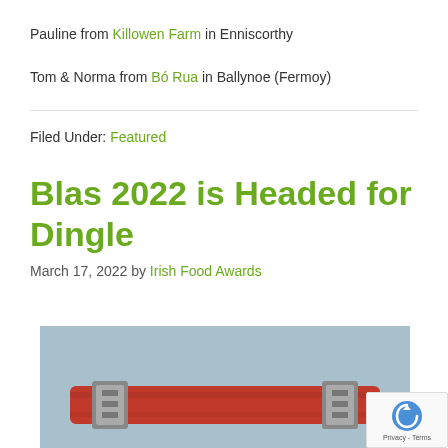Pauline from Killowen Farm in Enniscorthy
Tom & Norma from Bó Rua in Ballynoe (Fermoy)
Filed Under: Featured
Blas 2022 is Headed for Dingle
March 17, 2022 by Irish Food Awards
[Figure (photo): Photo of a red leather strap or case with metal clasps, against a grey-blue background. A reCAPTCHA privacy badge is overlaid in the bottom right corner.]